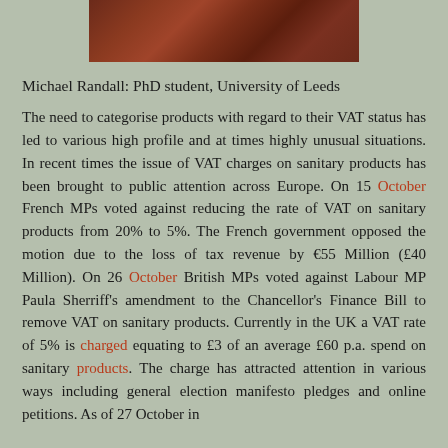[Figure (photo): Partial photograph showing a wooden surface with reddish-brown grain texture, cropped at the top of the page]
Michael Randall: PhD student, University of Leeds
The need to categorise products with regard to their VAT status has led to various high profile and at times highly unusual situations. In recent times the issue of VAT charges on sanitary products has been brought to public attention across Europe. On 15 October French MPs voted against reducing the rate of VAT on sanitary products from 20% to 5%. The French government opposed the motion due to the loss of tax revenue by €55 Million (£40 Million). On 26 October British MPs voted against Labour MP Paula Sherriff's amendment to the Chancellor's Finance Bill to remove VAT on sanitary products. Currently in the UK a VAT rate of 5% is charged equating to £3 of an average £60 p.a. spend on sanitary products. The charge has attracted attention in various ways including general election manifesto pledges and online petitions. As of 27 October in